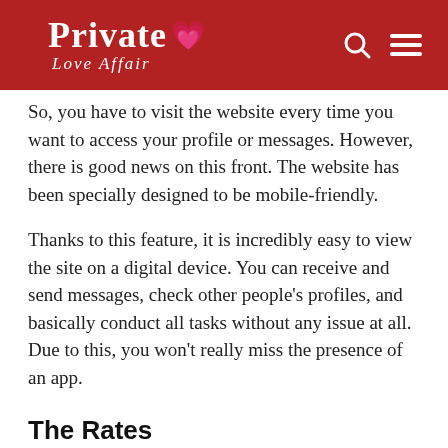Private Love Affair
So, you have to visit the website every time you want to access your profile or messages. However, there is good news on this front. The website has been specially designed to be mobile-friendly.
Thanks to this feature, it is incredibly easy to view the site on a digital device. You can receive and send messages, check other people's profiles, and basically conduct all tasks without any issue at all. Due to this, you won't really miss the presence of an app.
The Rates
Swipe-Affair.com is actually a completely free website. While you do have to use coins to message others on the